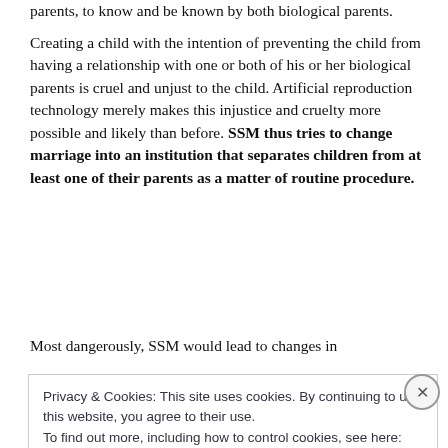parents, to know and be known by both biological parents.
Creating a child with the intention of preventing the child from having a relationship with one or both of his or her biological parents is cruel and unjust to the child. Artificial reproduction technology merely makes this injustice and cruelty more possible and likely than before. SSM thus tries to change marriage into an institution that separates children from at least one of their parents as a matter of routine procedure.
Most dangerously, SSM would lead to changes in
Privacy & Cookies: This site uses cookies. By continuing to use this website, you agree to their use.
To find out more, including how to control cookies, see here: Cookie Policy